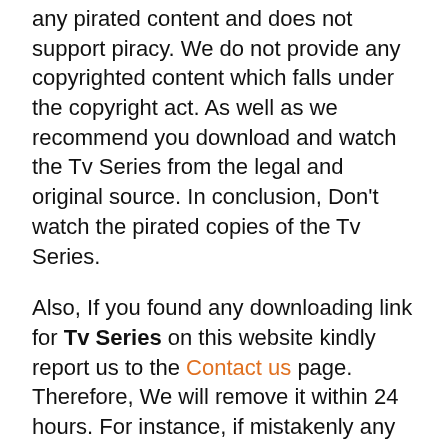any pirated content and does not support piracy. We do not provide any copyrighted content which falls under the copyright act. As well as we recommend you download and watch the Tv Series from the legal and original source. In conclusion, Don't watch the pirated copies of the Tv Series.
Also, If you found any downloading link for Tv Series on this website kindly report us to the Contact us page. Therefore, We will remove it within 24 hours. For instance, if mistakenly any copyrighted content will found on our website then reach us by our contact us page. In other words, we will remove the contents within 24 hours if the claim is genuine. Therefore, piracy will get stop by just your simple help and support.